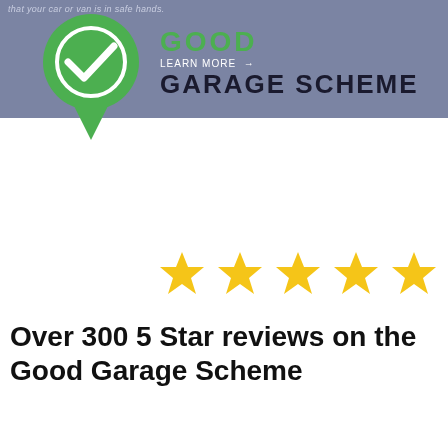[Figure (logo): Good Garage Scheme banner with green map pin logo containing a white checkmark, text GOOD in green, LEARN MORE with arrow in white, and GARAGE SCHEME in dark navy on a slate-blue/grey background. Partial text at top reads 'that your car or van is in safe hands.']
[Figure (infographic): Five gold/yellow star rating icons arranged in a horizontal row]
Over 300 5 Star reviews on the Good Garage Scheme